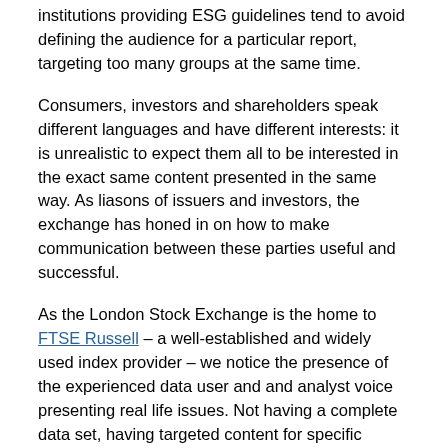institutions providing ESG guidelines tend to avoid defining the audience for a particular report, targeting too many groups at the same time.
Consumers, investors and shareholders speak different languages and have different interests: it is unrealistic to expect them all to be interested in the exact same content presented in the same way. As liasons of issuers and investors, the exchange has honed in on how to make communication between these parties useful and successful.
As the London Stock Exchange is the home to FTSE Russell – a well-established and widely used index provider – we notice the presence of the experienced data user and and analyst voice presenting real life issues. Not having a complete data set, having targeted content for specific audiences, are some of the demands that investors have been putting forwards over the past years.
Mapping the reporting space